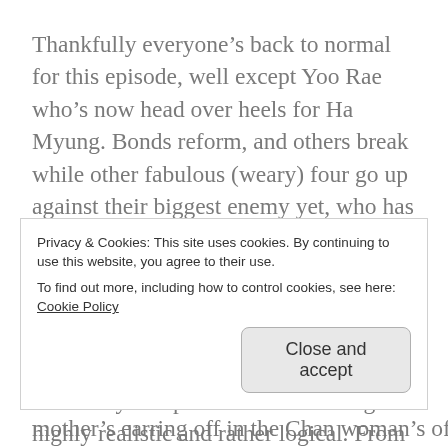Thankfully everyone's back to normal for this episode, well except Yoo Rae who's now head over heels for Ha Myung. Bonds reform, and others break while other fabulous (weary) four go up against their biggest enemy yet, who has a posse of her own. I like where this show is going, I really truly do, but the method it's using to go that way leaves me a little baffled. This isn't a show like Healer where this just move at an incredibly fast pace while remaining highly realistic and rather logical. From the hints being dropped around in
Privacy & Cookies: This site uses cookies. By continuing to use this website, you agree to their use.
To find out more, including how to control cookies, see here: Cookie Policy
Close and accept
mother's earring off in the Chan woman's office